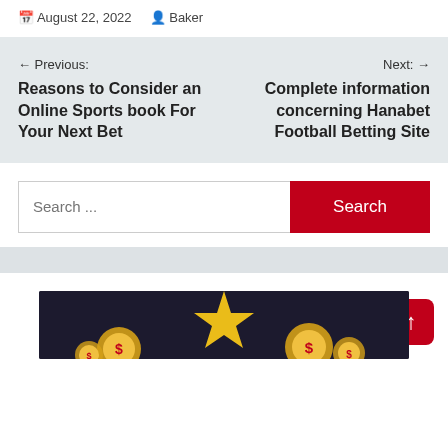August 22, 2022   Baker
← Previous: Reasons to Consider an Online Sports book For Your Next Bet
Next: → Complete information concerning Hanabet Football Betting Site
Search ...
[Figure (screenshot): Search bar with red Search button]
[Figure (photo): Dark background image with gold coins and star decorations at bottom]